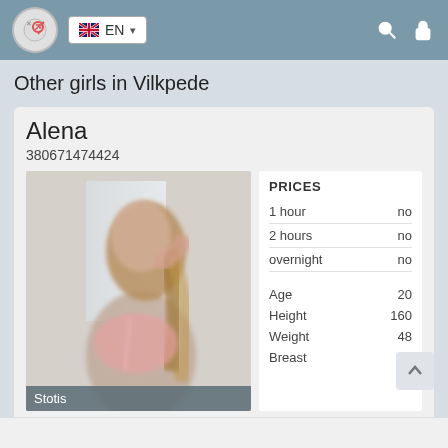EN (language selector, search icon, lock icon)
Other girls in Vilkpede
Alena
380671474424
[Figure (photo): Side profile of a young woman with long wavy blonde hair, wearing a pink top, standing in a bright room. Image is blurred/obscured.]
Stotis
|  |  |
| --- | --- |
| PRICES |  |
| 1 hour | no |
| 2 hours | no |
| overnight | no |
| Age | 20 |
| Height | 160 |
| Weight | 48 |
| Breast | 2 |